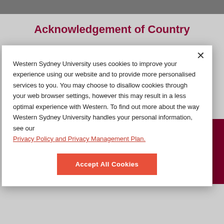Acknowledgement of Country
With respect for Aboriginal cultural protocol and out of recognition that this campus was once the traditional...
Western Sydney University uses cookies to improve your experience using our website and to provide more personalised services to you. You may choose to disallow cookies through your web browser settings, however this may result in a less optimal experience with Western. To find out more about the way Western Sydney University handles your personal information, see our Privacy Policy and Privacy Management Plan.
Accept All Cookies